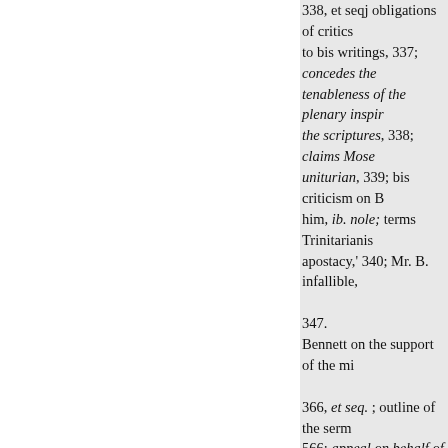338, et seqj obligations of critics to bis writings, 337; concedes the tenableness of the plenary inspir the scriptures, 338; claims Mose uniturian, 339; bis criticism on B him, ib. nole; terms Trinitarianis apostacy,' 340; Mr. B. infallible, 347. Bennett on the support of the mi 366, et seq. ; outline of the serm 566; appeal on behalf of ministe 367 ; protest against seal-rents, responsibility of deacons, 369; re un inc choice of, 370 ; the dissen ministry, an eligible, mode of su - port, 371; trading ministers, ib. stances of noble disinterestedness ministers, 372 ; on funds for the u lief of ministers, 373 ; inadequ sense of the claims of the ministr ib. ; system of voluntary contrib tion the most legitimate and effici